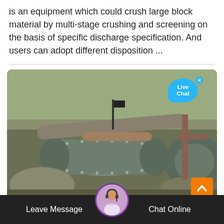is an equipment which could crush large block material by multi-stage crushing and screening on the basis of specific discharge specification. And users can adopt different disposition ...
[Figure (photo): Industrial crushing and screening equipment with large cylindrical ball mill drums and mechanical components set against a rocky hillside background. A 'Live Chat' bubble is overlaid in the top right corner, and a scroll-up orange button is in the bottom right.]
Leave Message   Chat Online